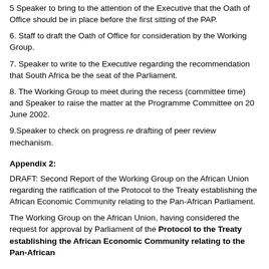5 Speaker to bring to the attention of the Executive that the Oath of Office should be in place before the first sitting of the PAP.
6. Staff to draft the Oath of Office for consideration by the Working Group.
7. Speaker to write to the Executive regarding the recommendation that South Africa be the seat of the Parliament.
8. The Working Group to meet during the recess (committee time) and Speaker to raise the matter at the Programme Committee on 20 June 2002.
9.Speaker to check on progress re drafting of peer review mechanism.
Appendix 2:
DRAFT: Second Report of the Working Group on the African Union regarding the ratification of the Protocol to the Treaty establishing the African Economic Community relating to the Pan-African Parliament.
The Working Group on the African Union, having considered the request for approval by Parliament of the Protocol to the Treaty establishing the African Economic Community relating to the Pan-African